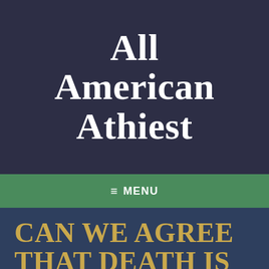All American Athiest
≡ MENU
Can we agree that death is a bad thing?